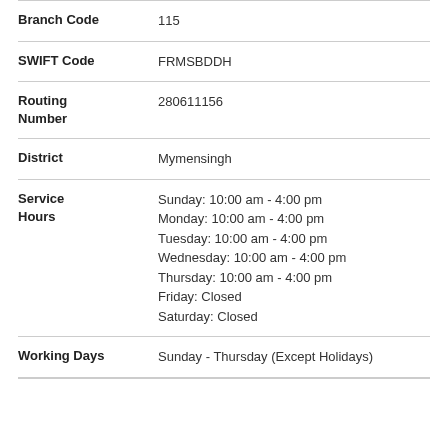| Field | Value |
| --- | --- |
| Branch Code | 115 |
| SWIFT Code | FRMSBDDH |
| Routing Number | 280611156 |
| District | Mymensingh |
| Service Hours | Sunday: 10:00 am - 4:00 pm
Monday: 10:00 am - 4:00 pm
Tuesday: 10:00 am - 4:00 pm
Wednesday: 10:00 am - 4:00 pm
Thursday: 10:00 am - 4:00 pm
Friday: Closed
Saturday: Closed |
| Working Days | Sunday - Thursday (Except Holidays) |